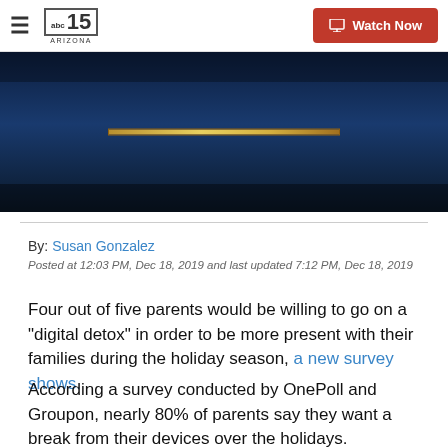abc15 ARIZONA | Watch Now
[Figure (screenshot): Video thumbnail showing dark blue/navy background with a gold/yellow horizontal bar element, part of a news video player interface.]
By: Susan Gonzalez
Posted at 12:03 PM, Dec 18, 2019 and last updated 7:12 PM, Dec 18, 2019
Four out of five parents would be willing to go on a "digital detox" in order to be more present with their families during the holiday season, a new survey shows.
According a survey conducted by OnePoll and Groupon, nearly 80% of parents say they want a break from their devices over the holidays.